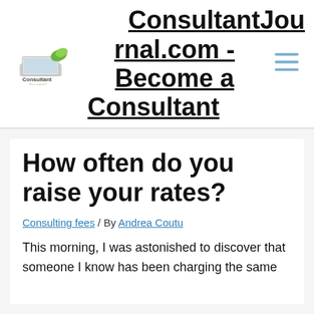ConsultantJournal.com - Become a Consultant
How often do you raise your rates?
Consulting fees / By Andrea Coutu
This morning, I was astonished to discover that someone I know has been charging the same consulting fees for TEN years! And I admit that